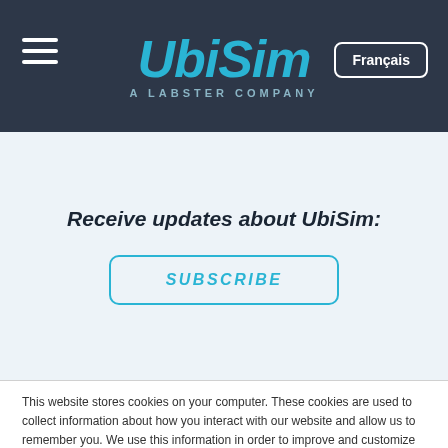[Figure (logo): UbiSim logo - stylized italic text in cyan/teal color with 'A LABSTER COMPANY' subtitle, on dark navy background with hamburger menu icon on left and Français button on right]
Receive updates about UbiSim:
[Figure (other): SUBSCRIBE button with cyan border and cyan italic text on light blue-gray background]
This website stores cookies on your computer. These cookies are used to collect information about how you interact with our website and allow us to remember you. We use this information in order to improve and customize your browsing experience and for analytics and metrics about our visitors both on this website and other media. To find out more about the cookies we use, see our Privacy Policy
[Figure (other): Accept button - cyan/teal rounded rectangle with white text 'Accept']